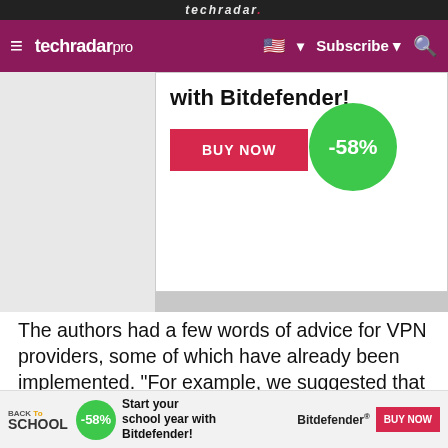techradar pro
[Figure (screenshot): Advertisement banner for Bitdefender showing 'with Bitdefender!' text, a BUY NOW button, and a -58% discount green circle badge]
The authors had a few words of advice for VPN providers, some of which have already been implemented. "For example, we suggested that designers could incorporate cues such as, 'Warning: this is a public network,' or 'VPN: anonymous browsing,'" said Maria Molina, one of doctoral candidate in mass communication who worked on
[Figure (screenshot): Bottom advertisement banner for Bitdefender Back to School promotion with -58% badge and BUY NOW button]